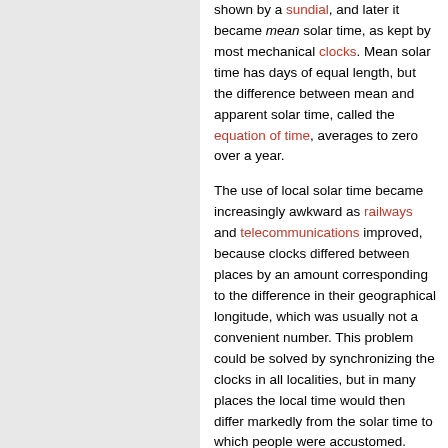shown by a sundial, and later it became mean solar time, as kept by most mechanical clocks. Mean solar time has days of equal length, but the difference between mean and apparent solar time, called the equation of time, averages to zero over a year.

The use of local solar time became increasingly awkward as railways and telecommunications improved, because clocks differed between places by an amount corresponding to the difference in their geographical longitude, which was usually not a convenient number. This problem could be solved by synchronizing the clocks in all localities, but in many places the local time would then differ markedly from the solar time to which people were accustomed. Time zones are a compromise, relaxing the complex geographic dependence while still allowing local time to approximate the solar time. The clocks in a